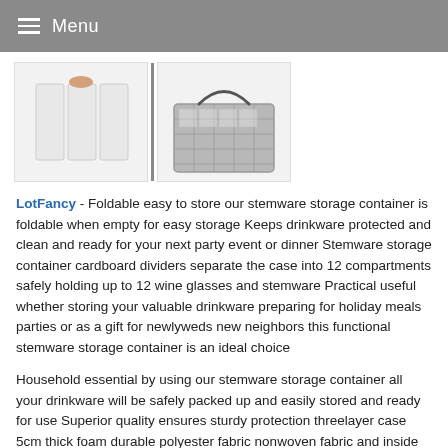Menu
[Figure (photo): Two product images: left shows white foldable stemware storage dividers, right shows a grey woven basket with 12-compartment dividers]
LotFancy - Foldable easy to store our stemware storage container is foldable when empty for easy storage Keeps drinkware protected and clean and ready for your next party event or dinner Stemware storage container cardboard dividers separate the case into 12 compartments safely holding up to 12 wine glasses and stemware Practical useful whether storing your valuable drinkware preparing for holiday meals parties or as a gift for newlyweds new neighbors this functional stemware storage container is an ideal choice
Household essential by using our stemware storage container all your drinkware will be safely packed up and easily stored and ready for use Superior quality ensures sturdy protection threelayer case 5cm thick foam durable polyester fabric nonwoven fabric and inside cardboard separators prevent items from cracks scratches